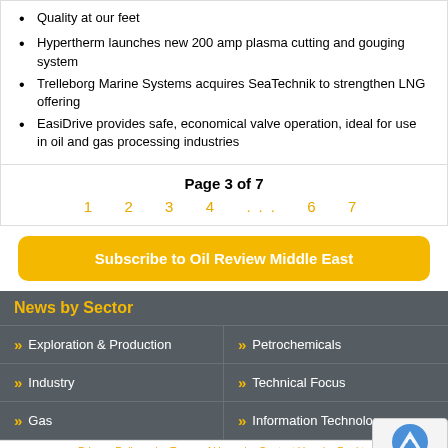Quality at our feet
Hypertherm launches new 200 amp plasma cutting and gouging system
Trelleborg Marine Systems acquires SeaTechnik to strengthen LNG offering
EasiDrive provides safe, economical valve operation, ideal for use in oil and gas processing industries
Page 3 of 7
1  2  3  4  ...  6  7
Subscribe to Oil Review Middle East
News by Sector
Exploration & Production
Petrochemicals
Industry
Technical Focus
Gas
Information Technology
Privacy Policy | Terms of Use | Contact Us | Desktop
Alain Charles Publishing, University House, 11-13 Lower Grosvenor Place, London SW1W 0EX, UK
T: +44 20 7834 7676, F: +44 20 7973 0076, W: www.alaincharles.com